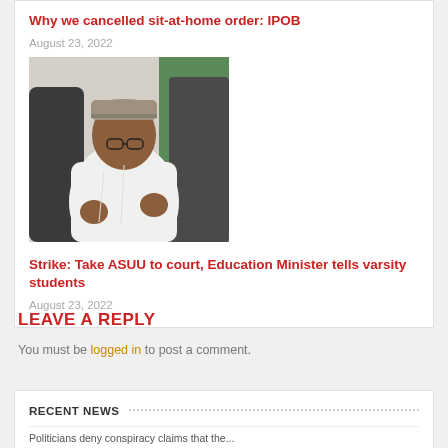Why we cancelled sit-at-home order: IPOB
August 23, 2022
[Figure (photo): Man in white traditional attire and cap, gesturing with hands, Nigerian flag visible in background]
Strike: Take ASUU to court, Education Minister tells varsity students
August 23, 2022
LEAVE A REPLY
You must be logged in to post a comment.
RECENT NEWS
Politicians deny conspiracy claims that the...